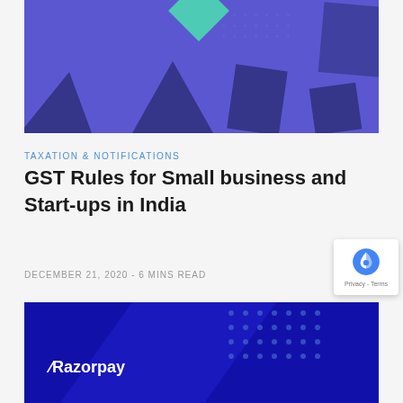[Figure (illustration): Purple/indigo banner illustration with geometric dark purple shapes (rectangles, triangles) and a green diamond/rhombus shape on a purple dotted background]
TAXATION & NOTIFICATIONS
GST Rules for Small business and Start-ups in India
DECEMBER 21, 2020 - 6 MINS READ
[Figure (illustration): Dark blue Razorpay branded banner with white Razorpay logo on the left and a dot pattern on the right, with diagonal shape overlay]